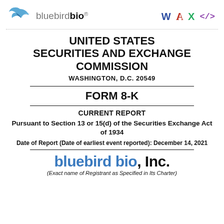[Figure (logo): bluebird bio logo with bird icon in blue, company name in blue and dark text]
[Figure (other): Document format icons: W (blue), A (red, mirrored), X (green), </> (purple)]
UNITED STATES SECURITIES AND EXCHANGE COMMISSION
WASHINGTON, D.C. 20549
FORM 8-K
CURRENT REPORT
Pursuant to Section 13 or 15(d) of the Securities Exchange Act of 1934
Date of Report (Date of earliest event reported): December 14, 2021
bluebird bio, Inc.
(Exact name of Registrant as Specified in Its Charter)